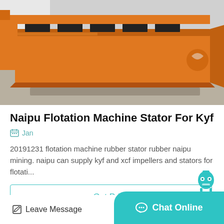[Figure (photo): Large orange industrial flotation machine / trough sitting on a concrete factory floor, photographed outdoors]
Naipu Flotation Machine Stator For Kyf
Jan
20191231 flotation machine rubber stator rubber naipu mining. naipu can supply kyf and xcf impellers and stators for flotati...
Get Price
Leave Message
Chat Online